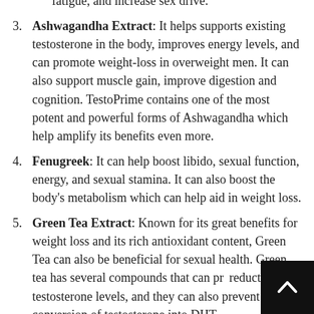inflammation levels, boost energy levels, reduce fatigue, and increase sex drive.
Ashwagandha Extract: It helps supports existing testosterone in the body, improves energy levels, and can promote weight-loss in overweight men. It can also support muscle gain, improve digestion and cognition. TestoPrime contains one of the most potent and powerful forms of Ashwagandha which help amplify its benefits even more.
Fenugreek: It can help boost libido, sexual function, energy, and sexual stamina. It can also boost the body's metabolism which can help aid in weight loss.
Green Tea Extract: Known for its great benefits for weight loss and its rich antioxidant content, Green Tea can also be beneficial for sexual health. Green tea has several compounds that can prevent reductions in testosterone levels, and they can also prevent the conversion of testosterone into DHT.